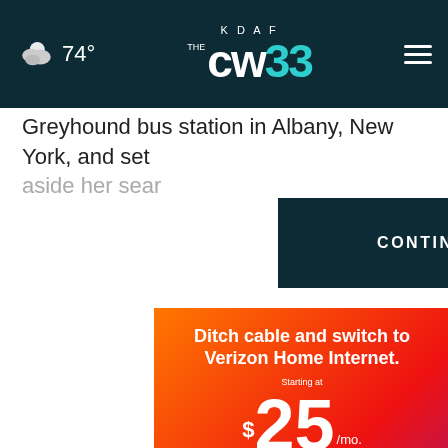KDAF CW 33 — weather 74°
Greyhound bus station in Albany, New York, and set aside her sear
[Figure (screenshot): CONTINUE READING button, dark teal background with white uppercase text]
[Figure (infographic): Verizon advertisement: Ditch cable and switch to Verizon Home Internet. Starting at $25/mo. With Auto Pay and select 5G mobile plans. Switch now.]
[Figure (infographic): Bottom banner Verizon ad: verizon logo + Ditch cable and switch to Verizon Home Internet.]